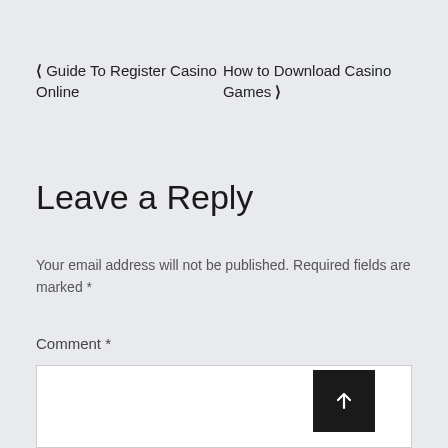❮ Guide To Register Casino Online
How to Download Casino Games ❯
Leave a Reply
Your email address will not be published. Required fields are marked *
Comment *